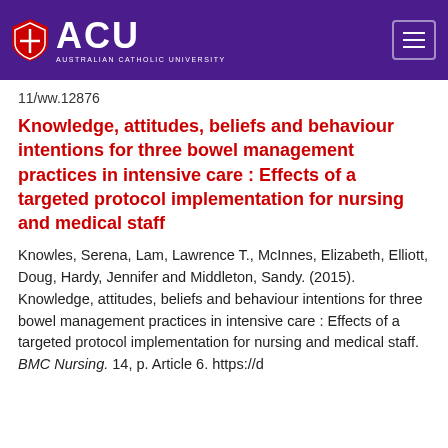ACU — Australian Catholic University
11/ww.12876
Knowledge, attitudes, beliefs and behaviour intentions for three bowel management practices in intensive care : Effects of a targeted protocol implementation for nursing and medical staff
Knowles, Serena, Lam, Lawrence T., McInnes, Elizabeth, Elliott, Doug, Hardy, Jennifer and Middleton, Sandy. (2015). Knowledge, attitudes, beliefs and behaviour intentions for three bowel management practices in intensive care : Effects of a targeted protocol implementation for nursing and medical staff. BMC Nursing. 14, p. Article 6. https://d